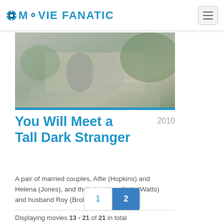MOVIE FANATIC
[Figure (photo): Movie still showing two people sitting on a bench outdoors, in muted grey-green tones]
You Will Meet a Tall Dark Stranger  2010
A pair of married couples, Alfie (Hopkins) and Helena (Jones), and their daughter Sally (Watts) and husband Roy (Brolin), as their...
Displaying movies 13 - 21 of 21 in total